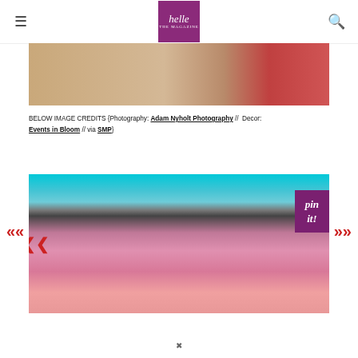helle THE MAGAZINE
[Figure (photo): Top partial image showing a warm-toned indoor scene with floral or decor elements, with reddish accent on the right side]
BELOW IMAGE CREDITS {Photography: Adam Nyholt Photography // Decor: Events in Bloom // via SMP}
[Figure (photo): Floral arrangement photo showing pink and purple roses and carnations against a teal/cyan lit background, with a purple 'pin it!' badge overlay and navigation arrows on sides]